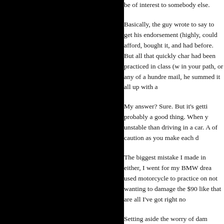be of interest to somebody else.
Basically, the guy wrote to say to get his endorsement (highly, could afford, bought it, and had before. But all that quickly char had been practiced in class (w in your path, or any of a hundre mail, he summed it all up with a
My answer? Sure. But it's getti probably a good thing. When y unstable than driving in a car. A of caution as you make each d
The biggest mistake I made in either, I went for my BMW drea used motorcycle to practice on not wanting to damage the $90 like that are all I've got right no
Setting aside the worry of dam hours of on-street riding, I had